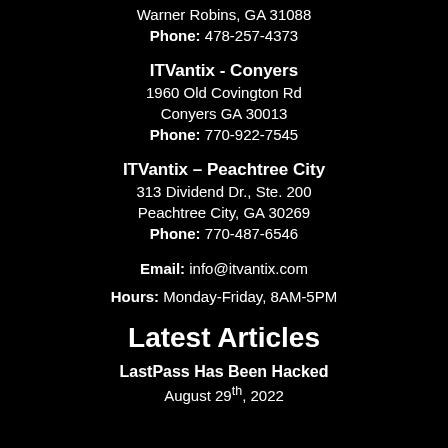Warner Robins, GA 31088
Phone: 478-257-4373
ITVantix - Conyers
1960 Old Covington Rd
Conyers GA 30013
Phone: 770-922-7545
ITVantix – Peachtree City
313 Dividend Dr., Ste. 200
Peachtree City, GA 30269
Phone: 770-487-6546
Email: info@itvantix.com
Hours: Monday-Friday, 8AM-5PM
Latest Articles
LastPass Has Been Hacked
August 29th, 2022